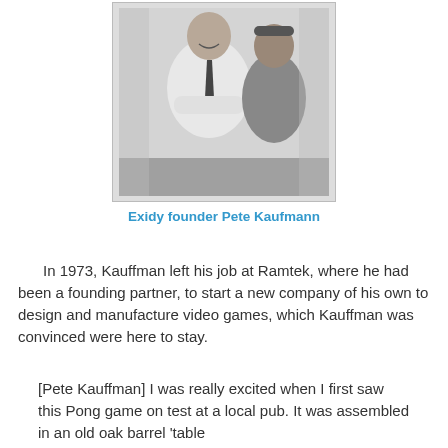[Figure (photo): Black and white photograph of two men, one in a white shirt and tie with arms crossed smiling, another in a t-shirt behind him. Likely taken at an arcade or office setting.]
Exidy founder Pete Kaufmann
In 1973, Kauffman left his job at Ramtek, where he had been a founding partner, to start a new company of his own to design and manufacture video games, which Kauffman was convinced were here to stay.
[Pete Kauffman] I was really excited when I first saw this Pong game on test at a local pub. It was assembled in an old oak barrel 'table